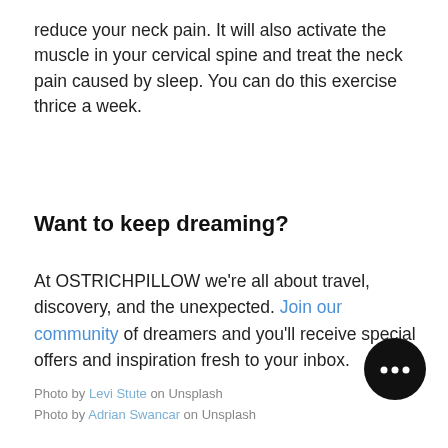reduce your neck pain. It will also activate the muscle in your cervical spine and treat the neck pain caused by sleep. You can do this exercise thrice a week.
Want to keep dreaming?
At OSTRICHPILLOW we're all about travel, discovery, and the unexpected. Join our community of dreamers and you'll receive special offers and inspiration fresh to your inbox.
Photo by Levi Stute on Unsplash
Photo by Adrian Swancar on Unsplash
[Figure (other): Black circular chat widget button with three dots]